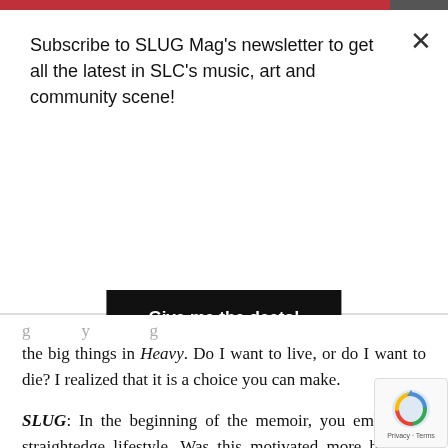Subscribe to SLUG Mag's newsletter to get all the latest in SLC's music, art and community scene!
Give me the deets!
the big things in Heavy. Do I want to live, or do I want to die? I realized that it is a choice you can make.
SLUG: In the beginning of the memoir, you embrace a straightedge lifestyle. Was this motivated more by your father, an avid weed smoker, or more by your peers?
Anselmi: It was both, but definitely more motivated by my dad's addiction. From a young age, my dad developed a drug pro[blem] and sometimes a drinking problem. He is mentally ill, in some ways, and used drugs to